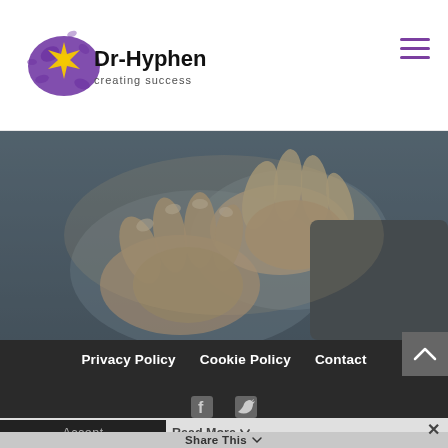[Figure (logo): Dr-Hyphen creating success logo with yellow starburst and purple ink splat]
[Figure (photo): Close-up photo of two people's hands clasped together, one wearing a suit, warm tones with grey overlay]
Privacy Policy   Cookie Policy   Contact
This website uses cookies to improve your experience. We'll assume you're ok with this, but you can opt-out if you wish.
Accept
Read More
Share This